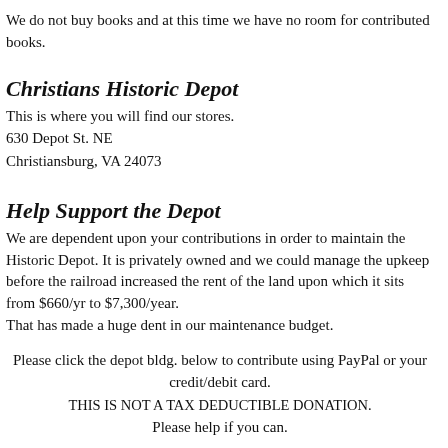We do not buy books and at this time we have no room for contributed books.
Christians Historic Depot
This is where you will find our stores.
630 Depot St. NE
Christiansburg, VA 24073
Help Support the Depot
We are dependent upon your contributions in order to maintain the Historic Depot. It is privately owned and we could manage the upkeep before the railroad increased the rent of the land upon which it sits from $660/yr to $7,300/year.
That has made a huge dent in our maintenance budget.
Please click the depot bldg. below to contribute using PayPal or your credit/debit card.
THIS IS NOT A TAX DEDUCTIBLE DONATION.
Please help if you can.